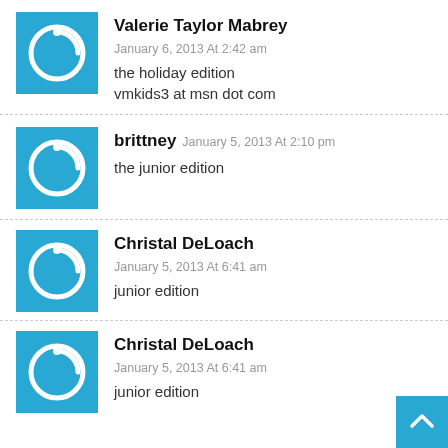Valerie Taylor Mabrey January 6, 2013 At 2:42 am
the holiday edition
vmkids3 at msn dot com
brittney January 5, 2013 At 2:10 pm
the junior edition
Christal DeLoach
January 5, 2013 At 6:41 am
junior edition
Christal DeLoach
January 5, 2013 At 6:41 am
junior edition